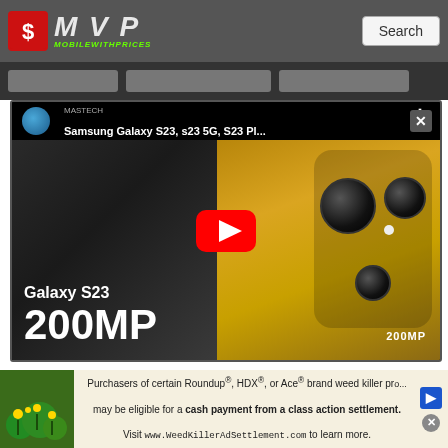MVP MobileWithPrices | Search
[Figure (screenshot): YouTube video thumbnail for Samsung Galaxy S23, s23 5G, S23 Pl... showing a gold-colored Samsung phone with 200MP camera module on the right, and text 'Galaxy S23 200MP' on dark left side, with a YouTube play button overlay and channel MASTECH]
Xiaomi Pad 5 256GB ROM
Xiaomi Pad 5 6GB RAM
[Figure (photo): Advertisement banner: Purchasers of certain Roundup®, HDX®, or Ace® brand weed killer products may be eligible for a cash payment from a class action settlement. Visit www.WeedKillerAdSettlement.com to learn more.]